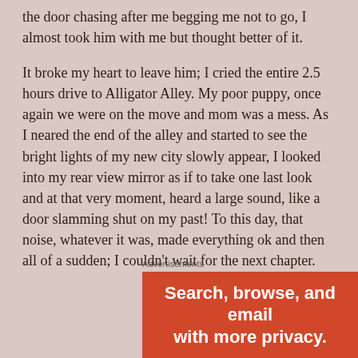the door chasing after me begging me not to go, I almost took him with me but thought better of it.
It broke my heart to leave him; I cried the entire 2.5 hours drive to Alligator Alley. My poor puppy, once again we were on the move and mom was a mess. As I neared the end of the alley and started to see the bright lights of my new city slowly appear, I looked into my rear view mirror as if to take one last look and at that very moment, heard a large sound, like a door slamming shut on my past! To this day, that noise, whatever it was, made everything ok and then all of a sudden; I couldn’t wait for the next chapter.
Advertisements
[Figure (other): Advertisement banner in orange-red with bold white text: 'Search, browse, and email with more privacy.']